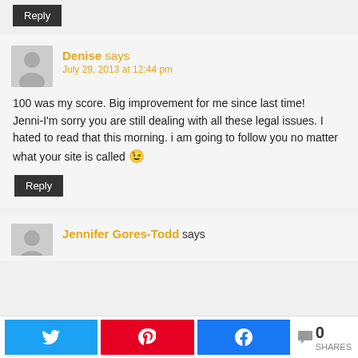Reply (button at top)
Denise says
July 29, 2013 at 12:44 pm
100 was my score. Big improvement for me since last time!
Jenni-I'm sorry you are still dealing with all these legal issues. I hated to read that this morning. i am going to follow you no matter what your site is called 😉
Reply (button)
Jennifer Gores-Todd says
0 SHARES